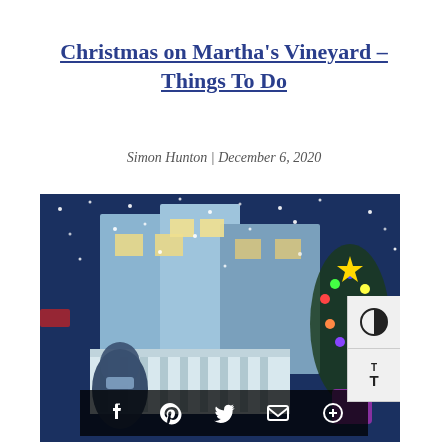Christmas on Martha's Vineyard – Things To Do
Simon Hunton | December 6, 2020
[Figure (photo): Snowy winter scene on Martha's Vineyard street with Christmas lights and decorations on buildings. A person wearing a mask is in the foreground. Social media share buttons (Facebook, Pinterest, Twitter, Email, More) appear as an overlay bar at the bottom of the image. Accessibility contrast and text-size buttons appear on the right side.]